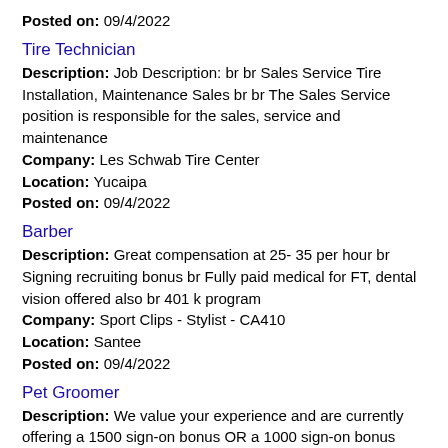Posted on: 09/4/2022
Tire Technician
Description: Job Description: br br Sales Service Tire Installation, Maintenance Sales br br The Sales Service position is responsible for the sales, service and maintenance
Company: Les Schwab Tire Center
Location: Yucaipa
Posted on: 09/4/2022
Barber
Description: Great compensation at 25- 35 per hour br Signing recruiting bonus br Fully paid medical for FT, dental vision offered also br 401 k program
Company: Sport Clips - Stylist - CA410
Location: Santee
Posted on: 09/4/2022
Pet Groomer
Description: We value your experience and are currently offering a 1500 sign-on bonus OR a 1000 sign-on bonus with a brand new tool kit ABOUT OUR SALONS:Let your creativity shine as an experienced Pet Groomer In (more...)
Company: PetSmart